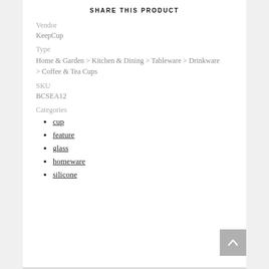SHARE THIS PRODUCT
Vendor
KeepCup
Type
Home & Garden > Kitchen & Dining > Tableware > Drinkware > Coffee & Tea Cups
SKU
BCSEA12
Categories
cup
feature
glass
homeware
silicone